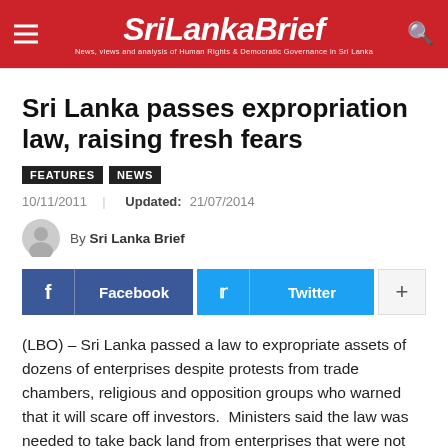SriLankaBrief — News, views and analysis of Human Rights & Democratic Governance in Sri Lanka
Sri Lanka passes expropriation law, raising fresh fears
FEATURES  NEWS
10/11/2011  |  Updated: 21/07/2014
By Sri Lanka Brief
(LBO) – Sri Lanka passed a law to expropriate assets of dozens of enterprises despite protests from trade chambers, religious and opposition groups who warned that it will scare off investors.  Ministers said the law was needed to take back land from enterprises that were not fully utilizing what was given or were not using resources as agreed upon